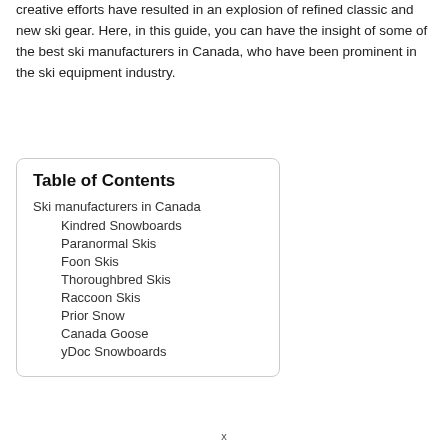creative efforts have resulted in an explosion of refined classic and new ski gear. Here, in this guide, you can have the insight of some of the best ski manufacturers in Canada, who have been prominent in the ski equipment industry.
Table of Contents
Ski manufacturers in Canada
Kindred Snowboards
Paranormal Skis
Foon Skis
Thoroughbred Skis
Raccoon Skis
Prior Snow
Canada Goose
yDoc Snowboards